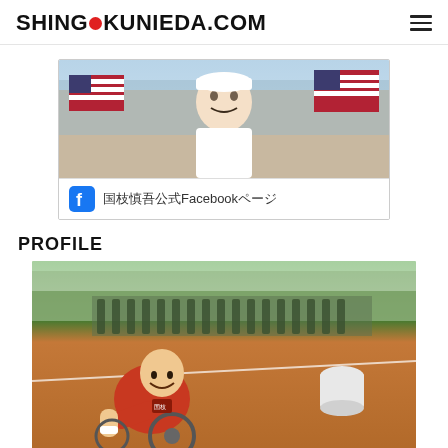SHINGO KUNIEDA.COM
[Figure (photo): Facebook banner for Shingo Kunieda official page showing athlete with American flag in background, with Facebook logo and Japanese text '国枝慎吾公式Facebookページ']
PROFILE
[Figure (photo): Photo of Shingo Kunieda on a clay tennis court in a wheelchair, smiling and giving thumbs up, wearing red shirt, with a line of people in background]